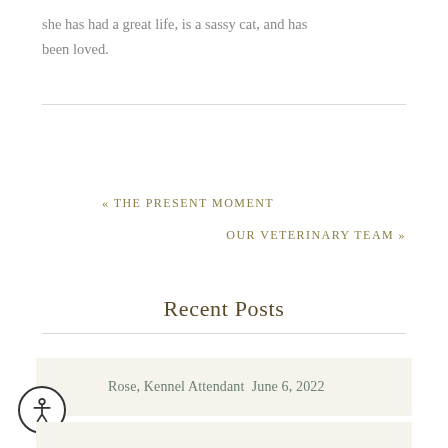she has had a great life, is a sassy cat, and has been loved.
« THE PRESENT MOMENT
OUR VETERINARY TEAM »
Recent Posts
Rose, Kennel Attendant June 6, 2022